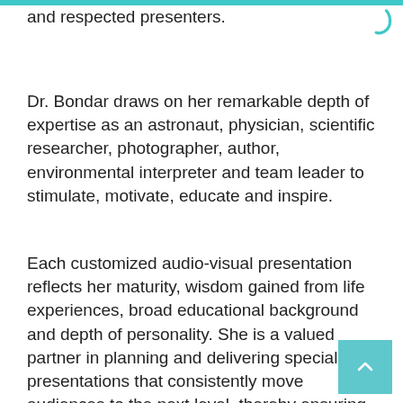and respected presenters.
Dr. Bondar draws on her remarkable depth of expertise as an astronaut, physician, scientific researcher, photographer, author, environmental interpreter and team leader to stimulate, motivate, educate and inspire.
Each customized audio-visual presentation reflects her maturity, wisdom gained from life experiences, broad educational background and depth of personality. She is a valued partner in planning and delivering special presentations that consistently move audiences to the next level, thereby ensuring that the event is an extraordinary experience.